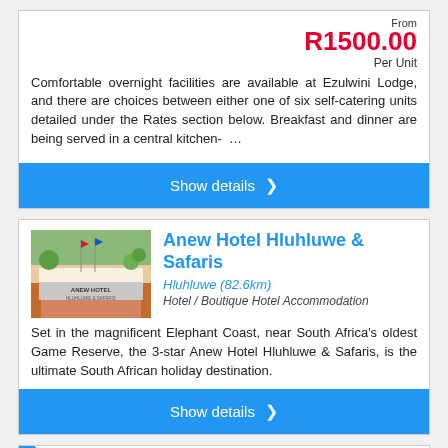From
R1500.00
Per Unit
Comfortable overnight facilities are available at Ezulwini Lodge, and there are choices between either one of six self-catering units detailed under the Rates section below. Breakfast and dinner are being served in a central kitchen- …
Show details ❯
Anew Hotel Hluhluwe & Safaris
Hluhluwe (82.6km)
Hotel / Boutique Hotel Accommodation
Set in the magnificent Elephant Coast, near South Africa's oldest Game Reserve, the 3-star Anew Hotel Hluhluwe & Safaris, is the ultimate South African holiday destination.
Show details ❯